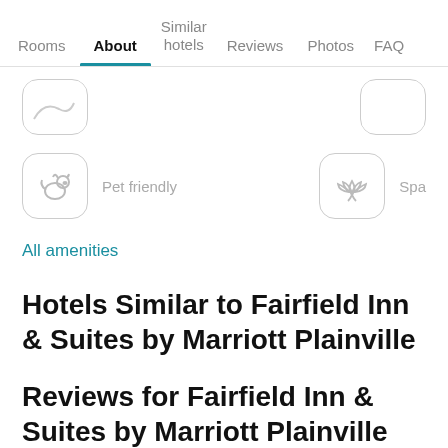Rooms | About | Similar hotels | Reviews | Photos | FAQ
[Figure (screenshot): Two partially visible amenity icon buttons (rounded rectangles) in a row at top]
[Figure (screenshot): Pet friendly amenity icon (dog/cat silhouette) and Spa amenity icon (lotus flower), both with rounded rectangle borders and grey labels]
All amenities
Hotels Similar to Fairfield Inn & Suites by Marriott Plainville
Reviews for Fairfield Inn & Suites by Marriott Plainville